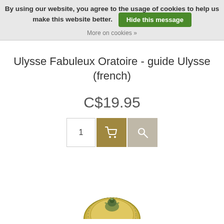By using our website, you agree to the usage of cookies to help us make this website better. Hide this message
More on cookies »
Ulysse Fabuleux Oratoire - guide Ulysse (french)
C$19.95
[Figure (screenshot): Quantity input box showing 1, dark gold add-to-cart button with shopping cart icon, and light tan search button with magnifying glass icon]
[Figure (photo): Partial view of a circular book cover for the Ulysse guide, showing a bird illustration on a gold/yellow background]